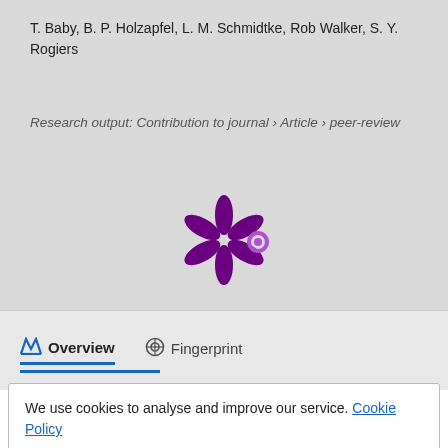T. Baby, B. P. Holzapfel, L. M. Schmidtke, Rob Walker, S. Y. Rogiers
Research output: Contribution to journal › Article › peer-review
[Figure (logo): Altmetric-style asterisk/snowflake logo in purple with a small purple circle to the right]
Overview
Fingerprint
We use cookies to analyse and improve our service. Cookie Policy